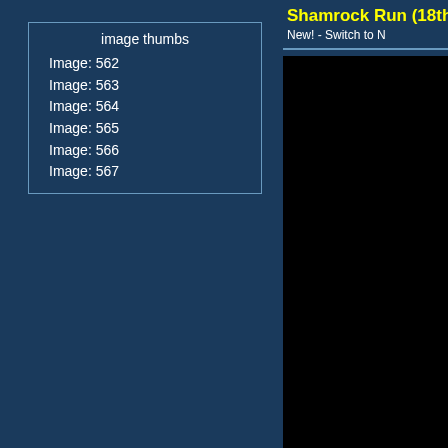image thumbs
Image: 562
Image: 563
Image: 564
Image: 565
Image: 566
Image: 567
Shamrock Run (18th)(2(
New! - Switch to N
[Figure (other): Black content area representing a loaded image or gallery area]